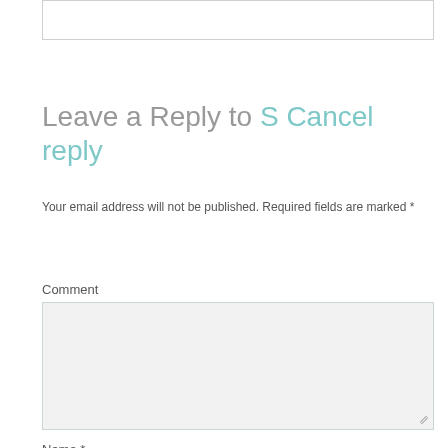[Figure (screenshot): Top portion of a text input box, partially visible at the top of the page]
Leave a Reply to S Cancel reply
Your email address will not be published. Required fields are marked *
Comment
[Figure (screenshot): Large comment textarea input box with light gray background]
Name *